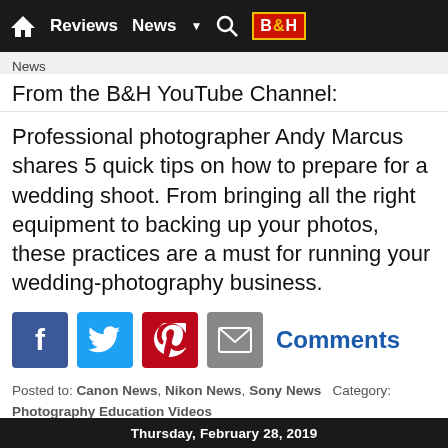Reviews  News  BH
News
From the B&H YouTube Channel:
Professional photographer Andy Marcus shares 5 quick tips on how to prepare for a wedding shoot. From bringing all the right equipment to backing up your photos, these practices are a must for running your wedding-photography business.
[Figure (infographic): Social sharing icons: Facebook (blue), Twitter (blue), Pinterest (red), Email (gray), and a Comments link in blue]
Posted to: Canon News, Nikon News, Sony News  Category: Photography Education Videos
Post Date: 3/1/2019 7:27:39 AM CT  Posted By: Sean
Thursday, February 28, 2019